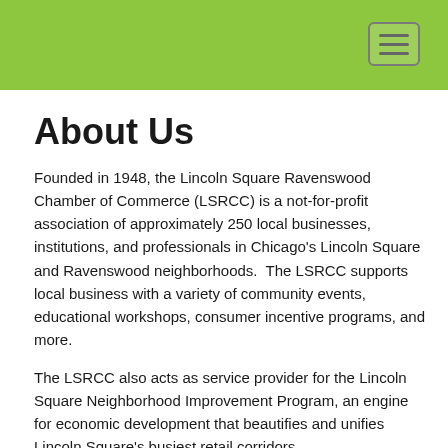[Figure (other): Green header navigation bar with hamburger menu icon in top-right corner]
About Us
Founded in 1948, the Lincoln Square Ravenswood Chamber of Commerce (LSRCC) is a not-for-profit association of approximately 250 local businesses, institutions, and professionals in Chicago's Lincoln Square and Ravenswood neighborhoods.  The LSRCC supports local business with a variety of community events, educational workshops, consumer incentive programs, and more.
The LSRCC also acts as service provider for the Lincoln Square Neighborhood Improvement Program, an engine for economic development that beautifies and unifies Lincoln Square's busiest retail corridors.
Using these tools, the LSRCC seeks to improve the economic wellbeing and quality of life in our two